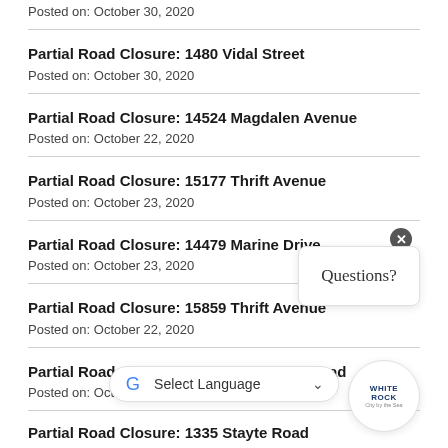Posted on: October 30, 2020
Partial Road Closure: 1480 Vidal Street
Posted on: October 30, 2020
Partial Road Closure: 14524 Magdalen Avenue
Posted on: October 22, 2020
Partial Road Closure: 15177 Thrift Avenue
Posted on: October 23, 2020
Partial Road Closure: 14479 Marine Drive
Posted on: October 23, 2020
Partial Road Closure: 15859 Thrift Avenue
Posted on: October 22, 2020
Partial Road Closure: 14098 NorthBluff Road
Posted on: Octo…
Partial Road Closure: 1335 Stayte Road
[Figure (other): Questions? chat widget with close button]
[Figure (other): White Rock City by the Sea logo circle]
[Figure (other): Google Translate Select Language bar]